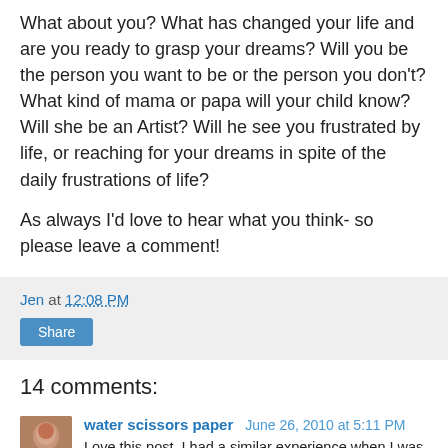What about you? What has changed your life and are you ready to grasp your dreams? Will you be the person you want to be or the person you don't? What kind of mama or papa will your child know? Will she be an Artist? Will he see you frustrated by life, or reaching for your dreams in spite of the daily frustrations of life?
As always I'd love to hear what you think- so please leave a comment!
Jen at 12:08 PM
Share
14 comments:
water scissors paper June 26, 2010 at 5:11 PM
Love this post. I had a similar experience when I was telling my 15 year old that a woman I met said "you are an artist. Like a real artist" After telling them that woman said "M...